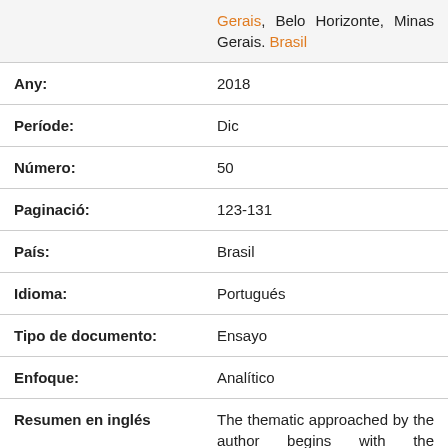|  | Gerais, Belo Horizonte, Minas Gerais. Brasil |
| Any: | 2018 |
| Període: | Dic |
| Número: | 50 |
| Paginació: | 123-131 |
| País: | Brasil |
| Idioma: | Portugués |
| Tipo de documento: | Ensayo |
| Enfoque: | Analítico |
| Resumen en inglés | The thematic approached by the author begins with the psychoanalytical practice, circumscribing and articulating about its main concepts, to work on a |